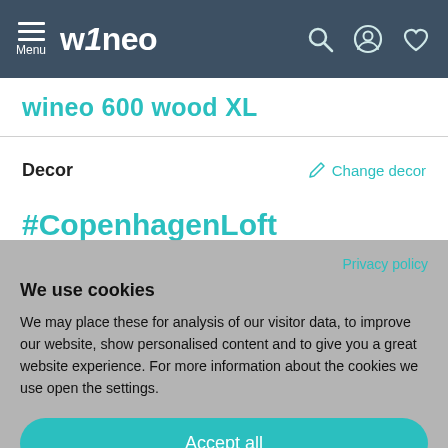Menu | wineo
wineo 600 wood XL
Decor
Change decor
#CopenhagenLoft
Privacy policy
We use cookies
We may place these for analysis of our visitor data, to improve our website, show personalised content and to give you a great website experience. For more information about the cookies we use open the settings.
Accept all
Deny
No, adjust